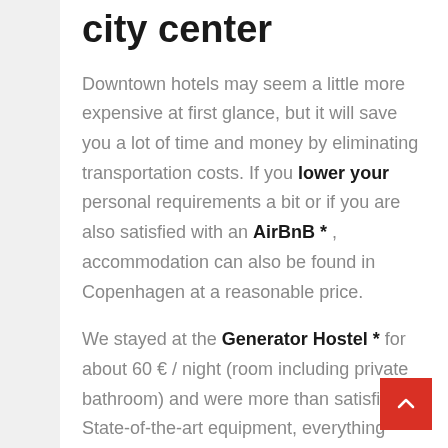city center
Downtown hotels may seem a little more expensive at first glance, but it will save you a lot of time and money by eliminating transportation costs. If you lower your personal requirements a bit or if you are also satisfied with an AirBnB * , accommodation can also be found in Copenhagen at a reasonable price.

We stayed at the Generator Hostel * for about 60 € / night (room including private bathroom) and were more than satisfied. State-of-the-art equipment, everything clean and